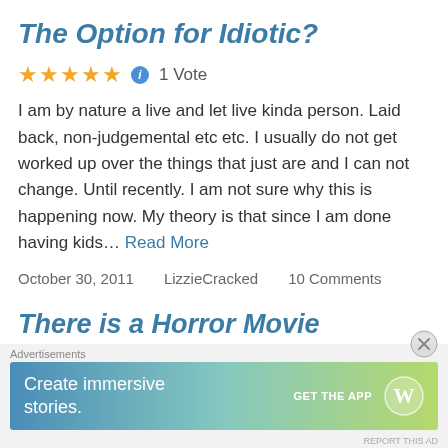The Option for Idiotic?
★★★★★ ℹ 1 Vote
I am by nature a live and let live kinda person. Laid back, non-judgemental etc etc. I usually do not get worked up over the things that just are and I can not change. Until recently. I am not sure why this is happening now. My theory is that since I am done having kids… Read More
October 30, 2011    LizzieCracked    10 Comments
There is a Horror Movie
Advertisements
[Figure (infographic): WordPress advertisement banner: 'Create immersive stories. GET THE APP' with WordPress logo]